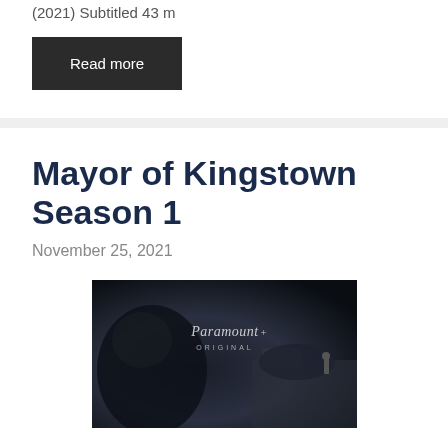(2021) Subtitled 43 m
Read more
Mayor of Kingstown Season 1
November 25, 2021
[Figure (photo): Paramount+ Original promo image for Mayor of Kingstown Season 1, dark monochrome/noir style with a figure silhouette and Paramount+ Original watermark]